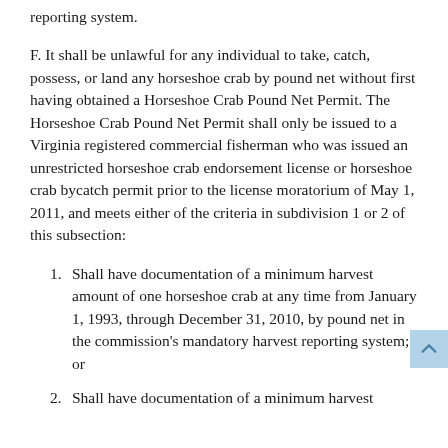reporting system.
F. It shall be unlawful for any individual to take, catch, possess, or land any horseshoe crab by pound net without first having obtained a Horseshoe Crab Pound Net Permit. The Horseshoe Crab Pound Net Permit shall only be issued to a Virginia registered commercial fisherman who was issued an unrestricted horseshoe crab endorsement license or horseshoe crab bycatch permit prior to the license moratorium of May 1, 2011, and meets either of the criteria in subdivision 1 or 2 of this subsection:
1. Shall have documentation of a minimum harvest amount of one horseshoe crab at any time from January 1, 1993, through December 31, 2010, by pound net in the commission's mandatory harvest reporting system; or
2. Shall have documentation of a minimum harvest amount of one horseshoe crab at any time from